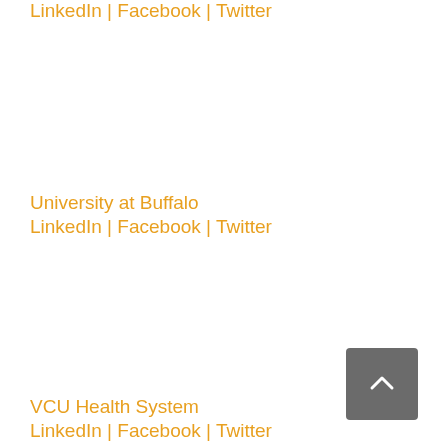LinkedIn | Facebook | Twitter
University at Buffalo
LinkedIn | Facebook | Twitter
VCU Health System
LinkedIn | Facebook | Twitter